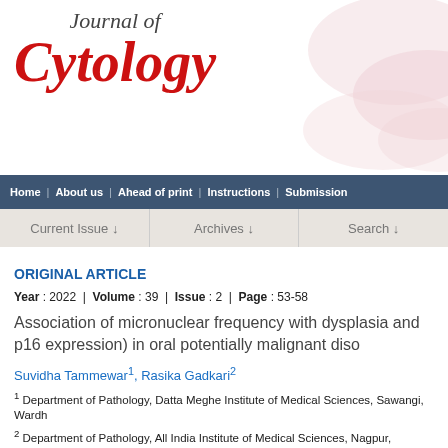[Figure (logo): Journal of Cytology logo with italic serif text and decorative background in top-left header area]
Home | About us | Ahead of print | Instructions | Submission
Current Issue ↓   Archives ↓   Search ↓
ORIGINAL ARTICLE
Year : 2022 | Volume : 39 | Issue : 2 | Page : 53-58
Association of micronuclear frequency with dysplasia and p16 expression) in oral potentially malignant diso
Suvidha Tammewar1, Rasika Gadkari2
1 Department of Pathology, Datta Meghe Institute of Medical Sciences, Sawangi, Wardh
2 Department of Pathology, All India Institute of Medical Sciences, Nagpur, Maharashtra
Correspondence Address:
Dr. Suvidha Tammewar
Senior Resident in Pathology, Datta Meghe Institute of Medical Sciences, Sawangi, Wa
India